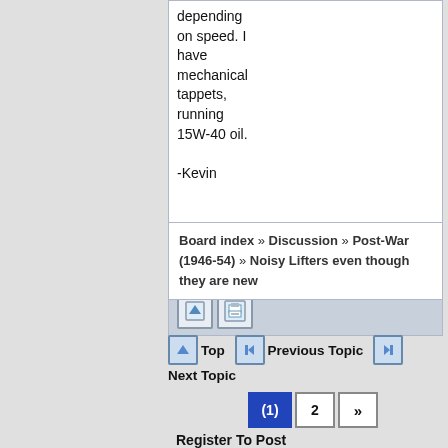depending on speed. I have mechanical tappets, running 15W-40 oil.

-Kevin

Posted on: 2021/10/14 22:59
Board index » Discussion » Post-War (1946-54) » Noisy Lifters even though they are new
Top   Previous Topic   Next Topic
(1)  2  »
Register To Post